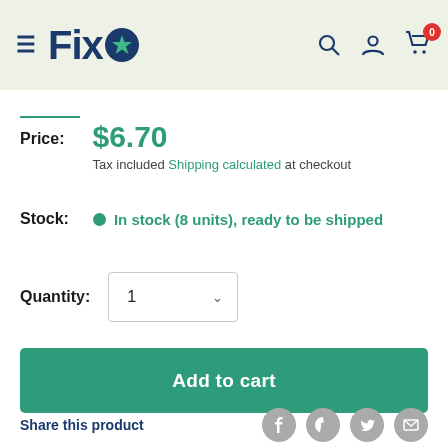[Figure (logo): Fixo logo with hamburger menu, star icon, search, account, and cart icons with badge showing 0]
Price: $6.70 Tax included Shipping calculated at checkout
Stock: In stock (8 units), ready to be shipped
Quantity: 1
Add to cart
Share this product